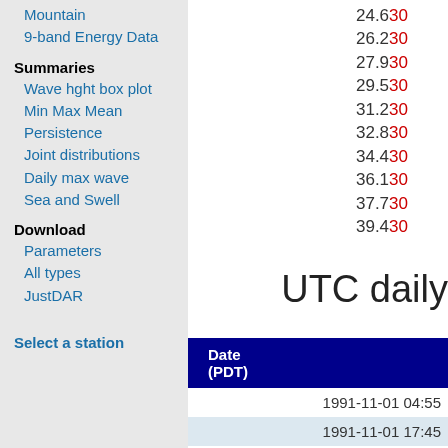Mountain
9-band Energy Data
Summaries
Wave hght box plot
Min Max Mean
Persistence
Joint distributions
Daily max wave
Sea and Swell
Download
Parameters
All types
JustDAR
Select a station
24.630
26.230
27.930
29.530
31.230
32.830
34.430
36.130
37.730
39.430
UTC daily
| Date (PDT) |
| --- |
| 1991-11-01 04:55 |
| 1991-11-01 17:4 |